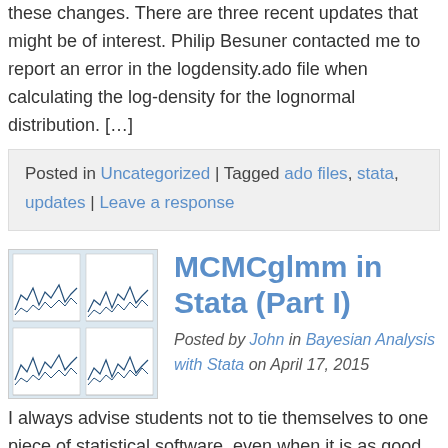these changes. There are three recent updates that might be of interest. Philip Besuner contacted me to report an error in the logdensity.ado file when calculating the log-density for the lognormal distribution. […]
Posted in Uncategorized | Tagged ado files, stata, updates | Leave a response
MCMCglmm in Stata (Part I)
Posted by John in Bayesian Analysis with Stata on April 17, 2015
I always advise students not to tie themselves to one piece of statistical software, even when it is as good as Stata. It is inevitable that whichever statistical package they choose, there will be tasks that are easier in another program or analyses that their favourite does not offer. The problem with this advice is that it takes […]